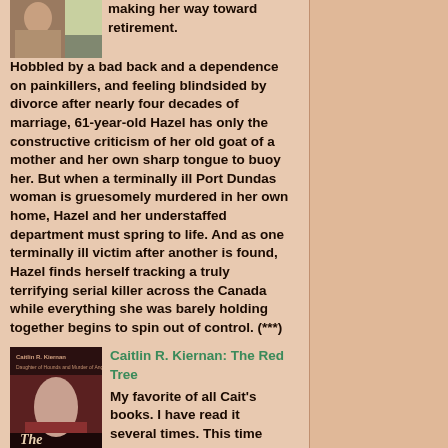[Figure (photo): Small photo of a person, partially visible at top left]
making her way toward retirement. Hobbled by a bad back and a dependence on painkillers, and feeling blindsided by divorce after nearly four decades of marriage, 61-year-old Hazel has only the constructive criticism of her old goat of a mother and her own sharp tongue to buoy her. But when a terminally ill Port Dundas woman is gruesomely murdered in her own home, Hazel and her understaffed department must spring to life. And as one terminally ill victim after another is found, Hazel finds herself tracking a truly terrifying serial killer across the Canada while everything she was barely holding together begins to spin out of control. (***)
[Figure (photo): Book cover: Caitlin R. Kiernan - The Red Tree]
Caitlin R. Kiernan: The Red Tree
My favorite of all Cait's books. I have read it several times. This time